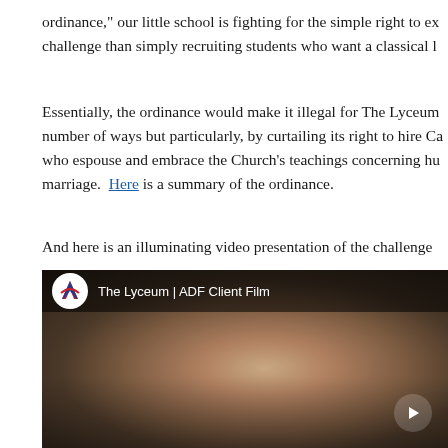ordinance," our little school is fighting for the simple right to ex challenge than simply recruiting students who want a classical l
Essentially, the ordinance would make it illegal for The Lyceum number of ways but particularly, by curtailing its right to hire Ca who espouse and embrace the Church's teachings concerning hu marriage.  Here is a summary of the ordinance.
And here is an illuminating video presentation of the challenge
[Figure (screenshot): Embedded YouTube video thumbnail showing 'The Lyceum | ADF Client Film' with ADF logo, dark background with a student in profile, and a play button in the lower right.]